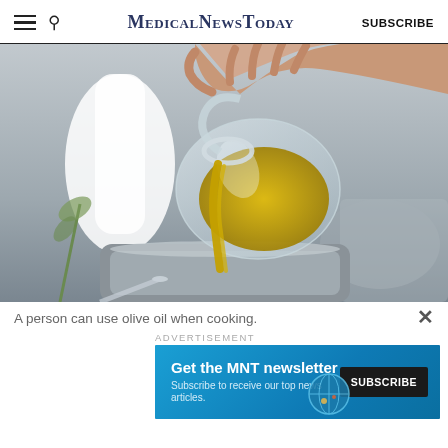MedicalNewsToday SUBSCRIBE
[Figure (photo): A person's hand pouring golden olive oil from a small glass jug into a stainless steel pot, with blurred kitchen items in the background on a gray surface.]
A person can use olive oil when cooking.
ADVERTISEMENT
[Figure (infographic): Advertisement banner for MNT newsletter: blue background with text 'Get the MNT newsletter' and subtext 'Subscribe to receive our top news articles.' with a dark SUBSCRIBE button on the right and a globe graphic.]